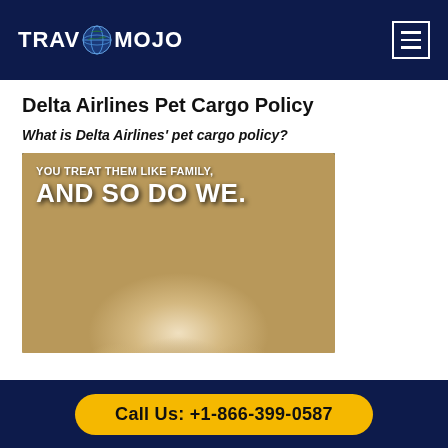TRAVMOJO
Delta Airlines Pet Cargo Policy
What is Delta Airlines’ pet cargo policy?
[Figure (photo): Promotional image of a dog (golden retriever) looking up with text overlay: YOU TREAT THEM LIKE FAMILY, AND SO DO WE.]
Call Us: +1-866-399-0587